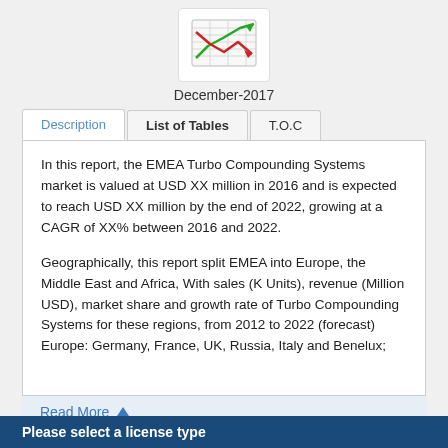[Figure (illustration): Spreadsheet/chart icon with red and green arrows]
December-2017
Description	List of Tables	T.O.C
In this report, the EMEA Turbo Compounding Systems market is valued at USD XX million in 2016 and is expected to reach USD XX million by the end of 2022, growing at a CAGR of XX% between 2016 and 2022.

Geographically, this report split EMEA into Europe, the Middle East and Africa, With sales (K Units), revenue (Million USD), market share and growth rate of Turbo Compounding Systems for these regions, from 2012 to 2022 (forecast) Europe: Germany, France, UK, Russia, Italy and Benelux;
Read More
Please select a license type